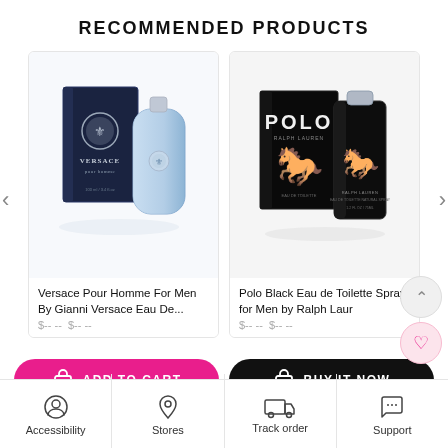RECOMMENDED PRODUCTS
[Figure (photo): Versace Pour Homme cologne bottle and box – dark navy box with Medusa logo and clear/light blue glass bottle]
Versace Pour Homme For Men By Gianni Versace Eau De...
[Figure (photo): Polo Black Eau de Toilette spray for men by Ralph Lauren – black box with POLO logo and large polo player, dark black bottle]
Polo Black Eau de Toilette Spray for Men by Ralph Laur
ADD TO CART
BUY IT NOW
Accessibility
Stores
Track order
Support